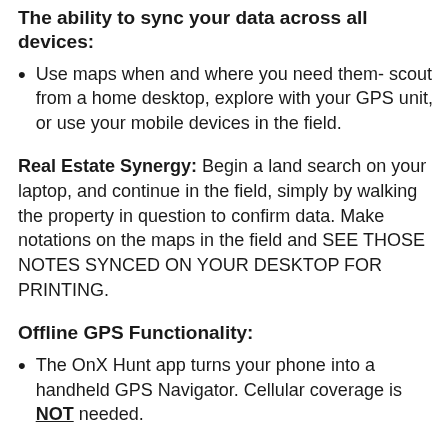The ability to sync your data across all devices:
Use maps when and where you need them- scout from a home desktop, explore with your GPS unit, or use your mobile devices in the field.
Real Estate Synergy:  Begin a land search on your laptop, and continue in the field, simply by walking the property in question to confirm data. Make notations on the maps in the field and SEE THOSE NOTES SYNCED ON YOUR DESKTOP FOR PRINTING.
Offline GPS Functionality:
The OnX Hunt app turns your phone into a handheld GPS Navigator. Cellular coverage is NOT needed.